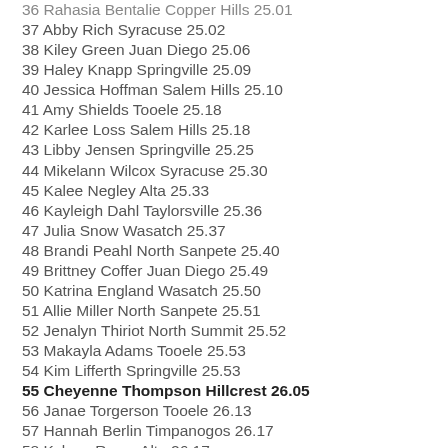36 Rahasia Bentalie Copper Hills 25.01
37 Abby Rich Syracuse 25.02
38 Kiley Green Juan Diego 25.06
39 Haley Knapp Springville 25.09
40 Jessica Hoffman Salem Hills 25.10
41 Amy Shields Tooele 25.18
42 Karlee Loss Salem Hills 25.18
43 Libby Jensen Springville 25.25
44 Mikelann Wilcox Syracuse 25.30
45 Kalee Negley Alta 25.33
46 Kayleigh Dahl Taylorsville 25.36
47 Julia Snow Wasatch 25.37
48 Brandi Peahl North Sanpete 25.40
49 Brittney Coffer Juan Diego 25.49
50 Katrina England Wasatch 25.50
51 Allie Miller North Sanpete 25.51
52 Jenalyn Thiriot North Summit 25.52
53 Makayla Adams Tooele 25.53
54 Kim Lifferth Springville 25.53
55 Cheyenne Thompson Hillcrest 26.05
56 Janae Torgerson Tooele 26.13
57 Hannah Berlin Timpanogos 26.17
58 Kylene Ream Alta 26.17